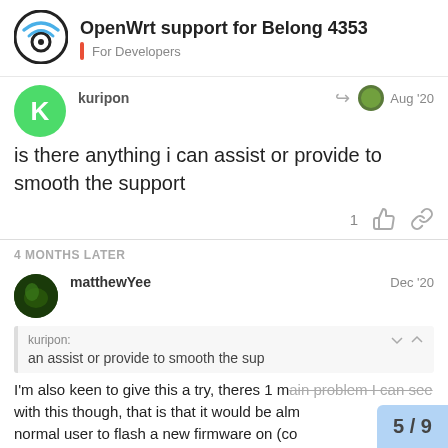OpenWrt support for Belong 4353 | For Developers
kuripon | Aug '20
is there anything i can assist or provide to smooth the support
4 MONTHS LATER
matthewYee | Dec '20
kuripon: an assist or provide to smooth the sup
I'm also keen to give this a try, theres 1 main problem I can see with this though, that is that it would be alm normal user to flash a new firmware on (cc
5 / 9